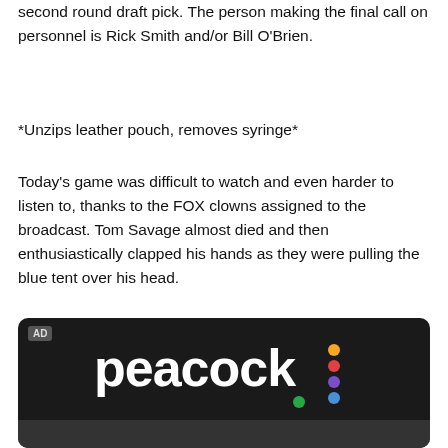second round draft pick. The person making the final call on personnel is Rick Smith and/or Bill O'Brien.
*Unzips leather pouch, removes syringe*
Today's game was difficult to watch and even harder to listen to, thanks to the FOX clowns assigned to the broadcast. Tom Savage almost died and then enthusiastically clapped his hands as they were pulling the blue tent over his head.
[Figure (screenshot): Peacock streaming service advertisement banner with dark background, white Peacock logo text, and colorful dots (yellow, red, purple, blue, green) arranged vertically to the right of the text. AD label in top left corner.]